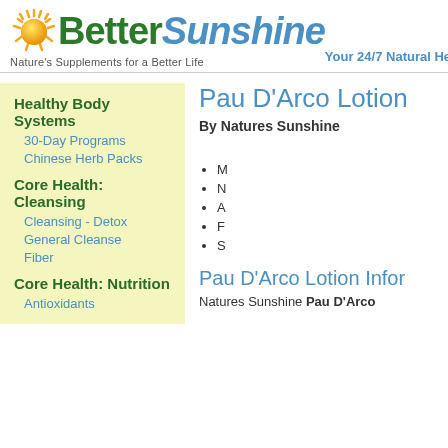[Figure (logo): Better Sunshine logo with sun graphic and tagline 'Nature's Supplements for a Better Life']
Your 24/7 Natural Health
Healthy Body Systems
30-Day Programs
Chinese Herb Packs
Core Health: Cleansing
Cleansing - Detox
General Cleanse
Fiber
Core Health: Nutrition
Antioxidants
Pau D'Arco Lotion
By Natures Sunshine
M
N
A
F
S
Pau D'Arco Lotion Infor
Natures Sunshine Pau D'Arco